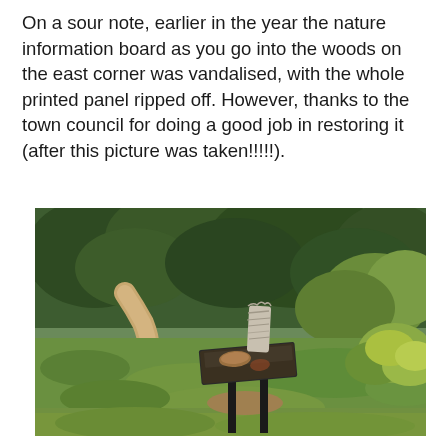On a sour note, earlier in the year the nature information board as you go into the woods on the east corner was vandalised, with the whole printed panel ripped off. However, thanks to the town council for doing a good job in restoring it (after this picture was taken!!!!!).
[Figure (photo): Photograph of a vandalised nature information board in a woodland setting. The board's printed panel has been ripped off, leaving only the metal frame and a remnant of material. The board is mounted on two dark posts in a grassy area with a dirt path visible to the left and dense green trees in the background.]